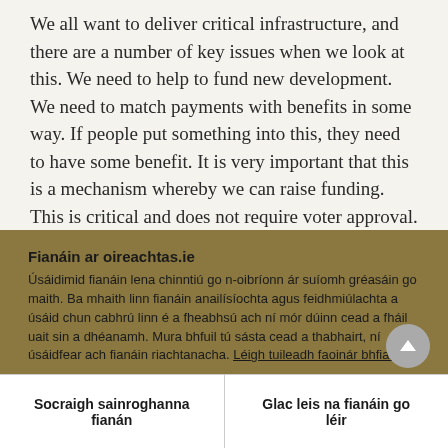We all want to deliver critical infrastructure, and there are a number of key issues when we look at this. We need to help to fund new development. We need to match payments with benefits in some way. If people put something into this, they need to have some benefit. It is very important that this is a mechanism whereby we can raise funding. This is critical and does not require voter approval. It should
Fianáin ar oireachtas.ie
Úsáidimid fianáin lena chinntiú go n-oibríonn ár suíomh gréasáin go maith. Ba mhaith linn fianáin anailísíochta agus feidhmiúlachta a úsáid chun cabhrú linn é a fheabhsú ach ní mór dúinn cead a fháil uait sin a dhéanamh. Mura bhfuil tú sásta cead a thabhairt, ní úsáidfear ach fianáin riachtanacha. Léigh tuileadh faoinár bhfianáin
Socraigh sainroghanna fianán
Glac leis na fianáin go léir